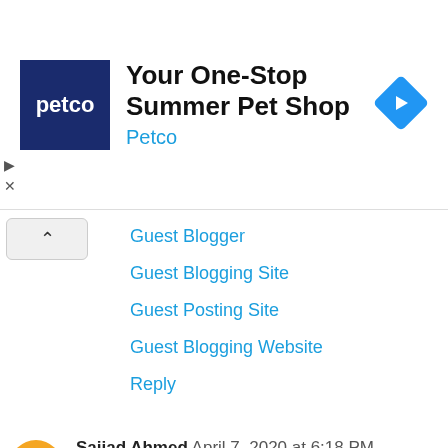[Figure (infographic): Petco advertisement banner: 'Your One-Stop Summer Pet Shop' with Petco logo and navigation icon]
Guest Blogger
Guest Blogging Site
Guest Posting Site
Guest Blogging Website
Reply
Sajjad Ahmed April 7, 2020 at 6:18 PM
Nice Blog. Here are some good profile of educational sites.
B.Tech College in Dehradun
Best College in Dehradun